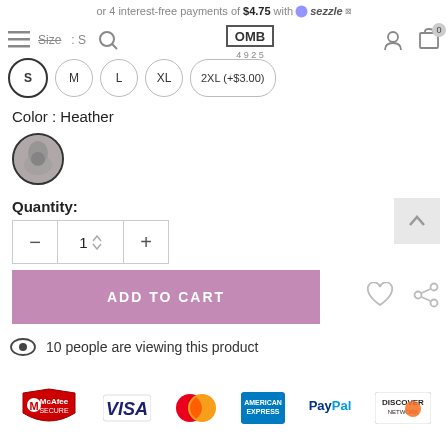or 4 interest-free payments of $4.75 with sezzle
Size : S
S  M  L  XL  2XL (+$3.00)
Color : Heather
Quantity:
1
ADD TO CART
10 people are viewing this product
[Figure (logo): Payment trust logos: McAfee Secure, VISA, MasterCard, American Express, PayPal, Discover Network]